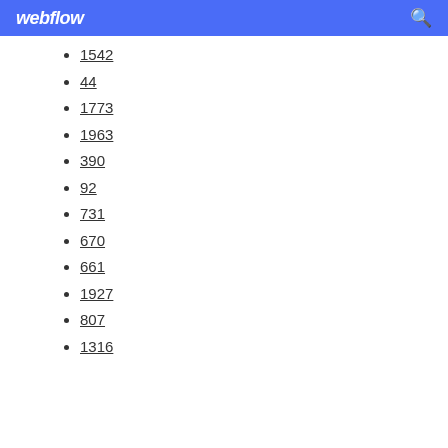webflow
1542
44
1773
1963
390
92
731
670
661
1927
807
1316